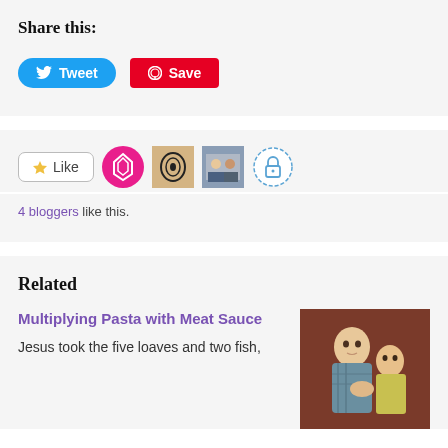Share this:
[Figure (infographic): Tweet button (blue rounded) and Save button (red, Pinterest-style)]
[Figure (infographic): Like button with star icon, followed by four blogger avatar icons (pink geometric, tan swirl, photo, lock icon)]
4 bloggers like this.
Related
Multiplying Pasta with Meat Sauce
Jesus took the five loaves and two fish,
[Figure (photo): Photo of two young children sitting close together, one in a plaid shirt]